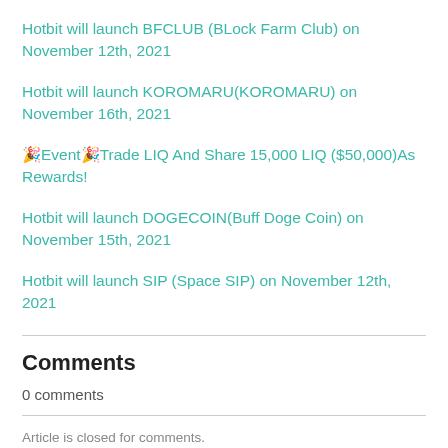Hotbit will launch BFCLUB (BLock Farm Club) on November 12th, 2021
Hotbit will launch KOROMARU(KOROMARU) on November 16th, 2021
🎉Event🎉Trade LIQ And Share 15,000 LIQ ($50,000)As Rewards!
Hotbit will launch DOGECOIN(Buff Doge Coin) on November 15th, 2021
Hotbit will launch SIP (Space SIP) on November 12th, 2021
Comments
0 comments
Article is closed for comments.